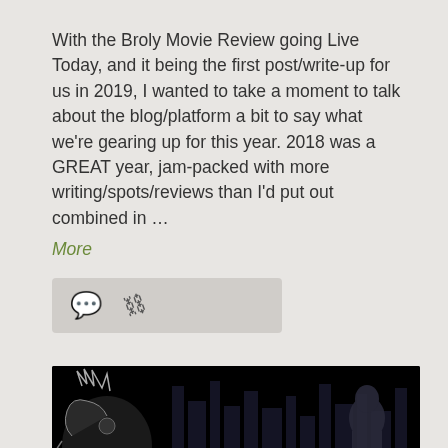With the Broly Movie Review going Live Today, and it being the first post/write-up for us in 2019, I wanted to take a moment to talk about the blog/platform a bit to say what we're gearing up for this year. 2018 was a GREAT year, jam-packed with more writing/spots/reviews than I'd put out combined in … More
[Figure (illustration): Dark/black background image featuring an anime-style character on the left side with mechanical/armored details, city skyline silhouette in the background, and a stylized logo reading 'the World' or similar in the lower right area.]